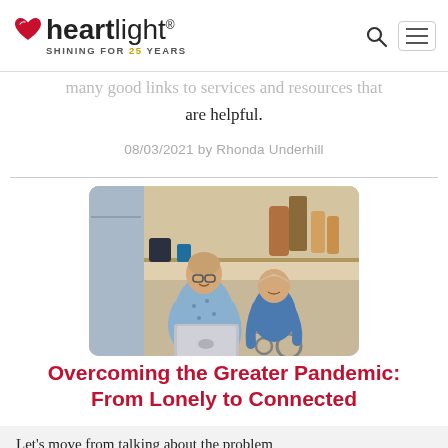heartlight® — SHINING FOR 25 YEARS
many good links to services and resources that are helpful.
08/03/2021 by Rhonda Underhill
[Figure (photo): An older bald man wearing glasses and a patterned shirt sits next to a woman in a wheelchair in a kitchen, both looking at a laptop computer and smiling.]
Overcoming the Greater Pandemic: From Lonely to Connected
Let's move from talking about the problem